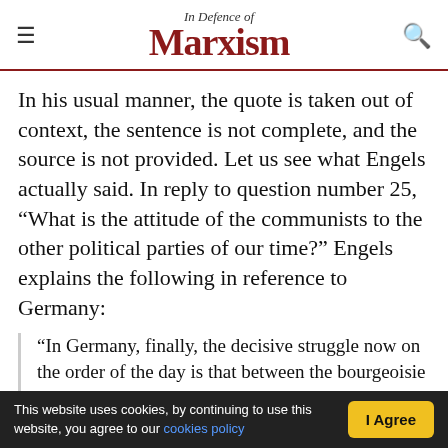In Defence of Marxism
In his usual manner, the quote is taken out of context, the sentence is not complete, and the source is not provided. Let us see what Engels actually said. In reply to question number 25, “What is the attitude of the communists to the other political parties of our time?” Engels explains the following in reference to Germany:
“In Germany, finally, the decisive struggle now on the order of the day is that between the bourgeoisie and the absolute monarchy. Since the communists cannot enter upon the decisive struggle between themselves and the bourgeoisie until the bourgeoisie is in full…
This website uses cookies, by continuing to use this website, you agree to our cookies policy